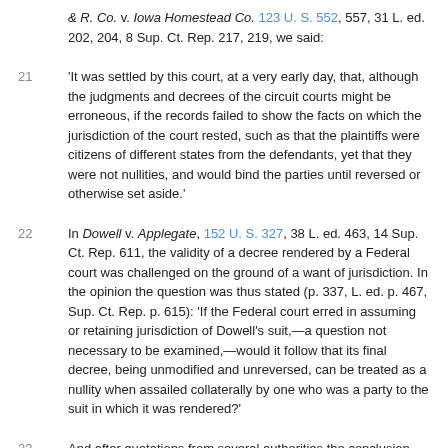& R. Co. v. Iowa Homestead Co. 123 U. S. 552, 557, 31 L. ed. 202, 204, 8 Sup. Ct. Rep. 217, 219, we said:
21 'It was settled by this court, at a very early day, that, although the judgments and decrees of the circuit courts might be erroneous, if the records failed to show the facts on which the jurisdiction of the court rested, such as that the plaintiffs were citizens of different states from the defendants, yet that they were not nullities, and would bind the parties until reversed or otherwise set aside.'
22 In Dowell v. Applegate, 152 U. S. 327, 38 L. ed. 463, 14 Sup. Ct. Rep. 611, the validity of a decree rendered by a Federal court was challenged on the ground of a want of jurisdiction. In the opinion the question was thus stated (p. 337, L. ed. p. 467, Sup. Ct. Rep. p. 615): 'If the Federal court erred in assuming or retaining jurisdiction of Dowell's suit,—a question not necessary to be examined,—would it follow that its final decree, being unmodified and unreversed, can be treated as a nullity when assailed collaterally by one who was a party to the suit in which it was rendered?'
23 And after quotations from several authorities the conclusion was reached (p. 340, L. ed. p. 468, Sup. Ct. Rep. p. 616):